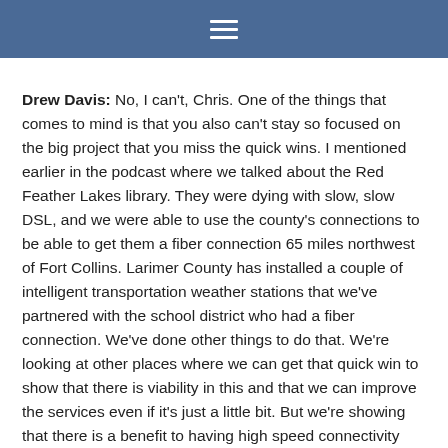≡
Drew Davis: No, I can't, Chris. One of the things that comes to mind is that you also can't stay so focused on the big project that you miss the quick wins. I mentioned earlier in the podcast where we talked about the Red Feather Lakes library. They were dying with slow, slow DSL, and we were able to use the county's connections to be able to get them a fiber connection 65 miles northwest of Fort Collins. Larimer County has installed a couple of intelligent transportation weather stations that we've partnered with the school district who had a fiber connection. We've done other things to do that. We're looking at other places where we can get that quick win to show that there is viability in this and that we can improve the services even if it's just a little bit. But we're showing that there is a benefit to having high speed connectivity and making it available to our constituents.